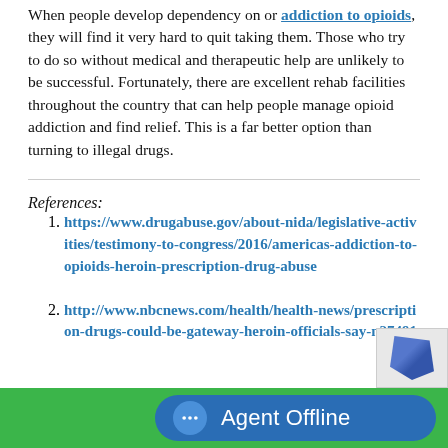When people develop dependency on or addiction to opioids, they will find it very hard to quit taking them. Those who try to do so without medical and therapeutic help are unlikely to be successful. Fortunately, there are excellent rehab facilities throughout the country that can help people manage opioid addiction and find relief. This is a far better option than turning to illegal drugs.
References:
https://www.drugabuse.gov/about-nida/legislative-activities/testimony-to-congress/2016/americas-addiction-to-opioids-heroin-prescription-drug-abuse
http://www.nbcnews.com/health/health-news/prescription-drugs-could-be-gateway-heroin-officials-say-n27491
Agent Offline